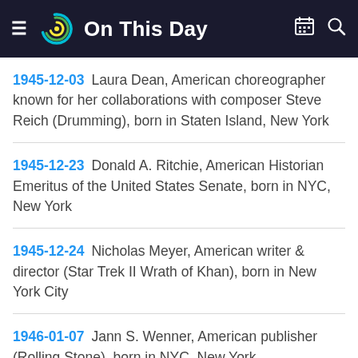On This Day
1945-12-03 Laura Dean, American choreographer known for her collaborations with composer Steve Reich (Drumming), born in Staten Island, New York
1945-12-23 Donald A. Ritchie, American Historian Emeritus of the United States Senate, born in NYC, New York
1945-12-24 Nicholas Meyer, American writer & director (Star Trek II Wrath of Khan), born in New York City
1946-01-07 Jann S. Wenner, American publisher (Rolling Stone), born in NYC, New York
1946-01-31 Glynn Turman, American actor (Lew-Peyton Place, Moesha, Cooley High), born in NYC, New York